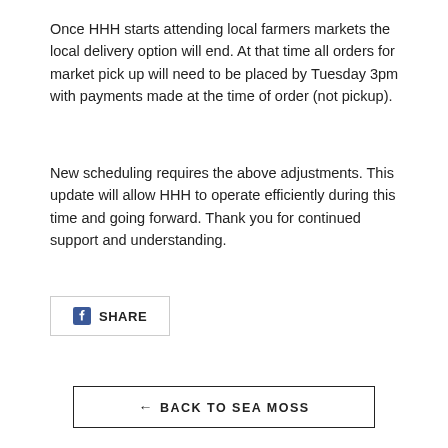Once HHH starts attending local farmers markets the local delivery option will end. At that time all orders for market pick up will need to be placed by Tuesday 3pm with payments made at the time of order (not pickup).
New scheduling requires the above adjustments. This update will allow HHH to operate efficiently during this time and going forward. Thank you for continued support and understanding.
[Figure (other): Facebook Share button with Facebook icon and SHARE text, inside a rectangular border]
[Figure (other): Back navigation button with left arrow and text BACK TO SEA MOSS, inside a rectangular border]